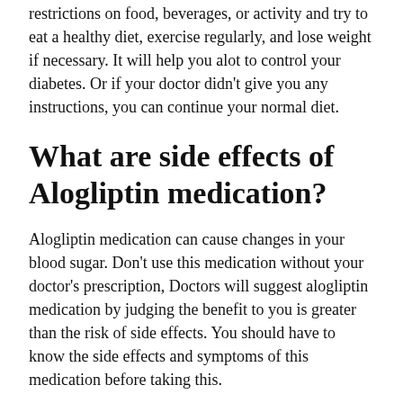restrictions on food, beverages, or activity and try to eat a healthy diet, exercise regularly, and lose weight if necessary. It will help you alot to control your diabetes. Or if your doctor didn't give you any instructions, you can continue your normal diet.
What are side effects of Alogliptin medication?
Alogliptin medication can cause changes in your blood sugar. Don't use this medication without your doctor's prescription, Doctors will suggest alogliptin medication by judging the benefit to you is greater than the risk of side effects. You should have to know the side effects and symptoms of this medication before taking this.
Don't use alogliptin medication for a longer time period than prescribed, but in case, If you're using